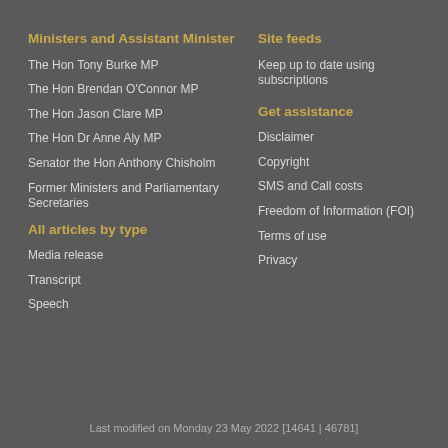Ministers and Assistant Minister
The Hon Tony Burke MP
The Hon Brendan O'Connor MP
The Hon Jason Clare MP
The Hon Dr Anne Aly MP
Senator the Hon Anthony Chisholm
Former Ministers and Parliamentary Secretaries
All articles by type
Media release
Transcript
Speech
Site feeds
Keep up to date using subscriptions
Get assistance
Disclaimer
Copyright
SMS and Call costs
Freedom of Information (FOI)
Terms of use
Privacy
Last modified on Monday 23 May 2022 [14641 | 46781]